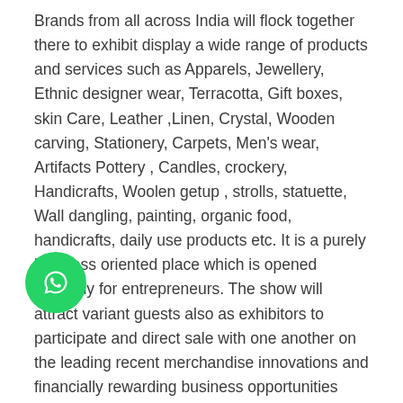Brands from all across India will flock together there to exhibit display a wide range of products and services such as Apparels, Jewellery, Ethnic designer wear, Terracotta, Gift boxes, skin Care, Leather ,Linen, Crystal, Wooden carving, Stationery, Carpets, Men's wear, Artifacts Pottery , Candles, crockery, Handicrafts, Woolen getup , strolls, statuette, Wall dangling, painting, organic food, handicrafts, daily use products etc. It is a purely business oriented place which is opened specially for entrepreneurs. The show will attract variant guests also as exhibitors to participate and direct sale with one another on the leading recent merchandise innovations and financially rewarding business opportunities within the individual field. EventsGram will provide you number of related to Lifestyle Exhibition, flea market and other types of promotional events which is going to be